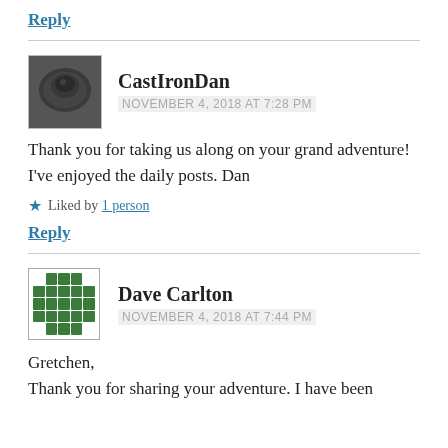Reply
CastIronDan
NOVEMBER 4, 2018 AT 7:28 PM
Thank you for taking us along on your grand adventure! I've enjoyed the daily posts. Dan
Liked by 1 person
Reply
Dave Carlton
NOVEMBER 4, 2018 AT 7:44 PM
Gretchen,
Thank you for sharing your adventure. I have been